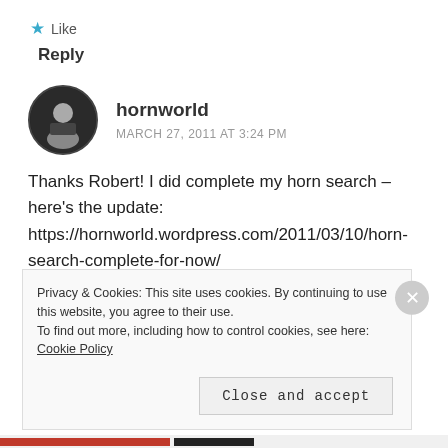★ Like
Reply
hornworld
MARCH 27, 2011 AT 3:24 PM
Thanks Robert! I did complete my horn search – here's the update: https://hornworld.wordpress.com/2011/03/10/horn-search-complete-for-now/
★ Like
Reply
Privacy & Cookies: This site uses cookies. By continuing to use this website, you agree to their use.
To find out more, including how to control cookies, see here: Cookie Policy
Close and accept